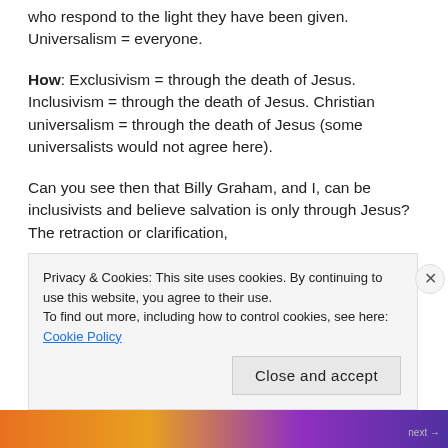who respond to the light they have been given. Universalism = everyone.
How: Exclusivism = through the death of Jesus. Inclusivism = through the death of Jesus. Christian universalism = through the death of Jesus (some universalists would not agree here).
Can you see then that Billy Graham, and I, can be inclusivists and believe salvation is only through Jesus? The retraction or clarification,
Privacy & Cookies: This site uses cookies. By continuing to use this website, you agree to their use.
To find out more, including how to control cookies, see here: Cookie Policy